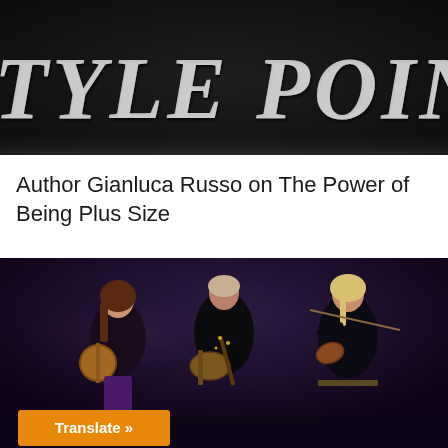[Figure (photo): Dark background banner image with large italic white serif text reading 'TYLE POINT' (partially cropped, likely 'STYLE POINT' or similar), silver/white lettering on black fabric or surface]
Author Gianluca Russo on The Power of Being Plus Size
[Figure (photo): Three female musicians performing on a dark stage. Left: brunette playing banjo in sleeveless dark outfit. Center: short-haired woman singing and playing electric guitar. Right: blonde woman playing violin, all in dark clothing with stage lighting.]
Translate »